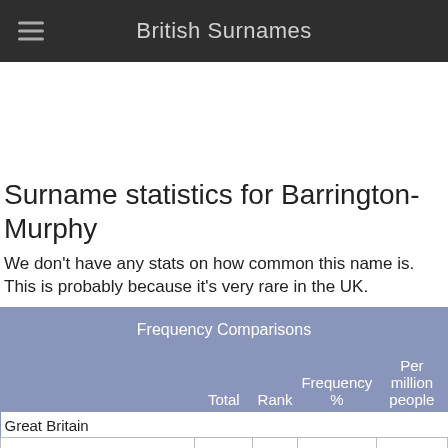British Surnames
Surname statistics for Barrington-Murphy
We don't have any stats on how common this name is. This is probably because it's very rare in the UK.
|  | Total | Rank | Frequency % | Per million people |
| --- | --- | --- | --- | --- |
| Great Britain |  |  |  |  |
| United Kingdom (current) |  |  |  |  |
| United Kingdom (1881 |  |  |  |  |